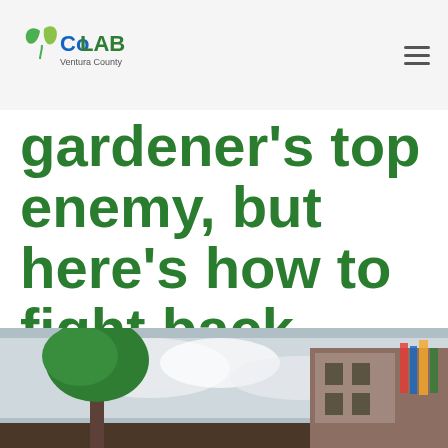CoLAB Ventura County
gardener’s top enemy, but here’s how to fight back
Gardener
September 6, 2013
[Figure (photo): Outdoor photo showing a tree on the left against a cloudy sky and a building with books on the right side]